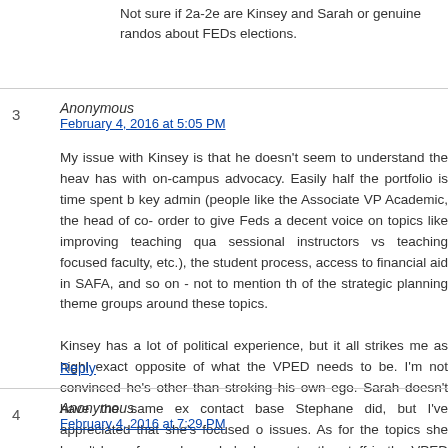Not sure if 2a-2e are Kinsey and Sarah or genuine randos about FEDs elections.
3  Anonymous
February 4, 2016 at 5:05 PM
My issue with Kinsey is that he doesn't seem to understand the heavy has with on-campus advocacy. Easily half the portfolio is time spent b key admin (people like the Associate VP Academic, the head of co- order to give Feds a decent voice on topics like improving teaching qua sessional instructors vs teaching focused faculty, etc.), the student process, access to financial aid in SAFA, and so on - not to mention th of the strategic planning theme groups around these topics.

Kinsey has a lot of political experience, but it all strikes me as highl exact opposite of what the VPED needs to be. I'm not convinced he's other than stroking his own ego. Sarah doesn't have the same ex contact base Stephane did, but I've appreciated that she's focused o issues. As for the topics she hasn't been focused on, she's demonstra the staff in the VPED department to get informed and develop a prope will about Stephane, but he brought some really good people into tha and I'm not convinced Kinsey wouldn't presume to think he knows bette
Reply
4  Anonymous
February 4, 2016 at 7:29 PM